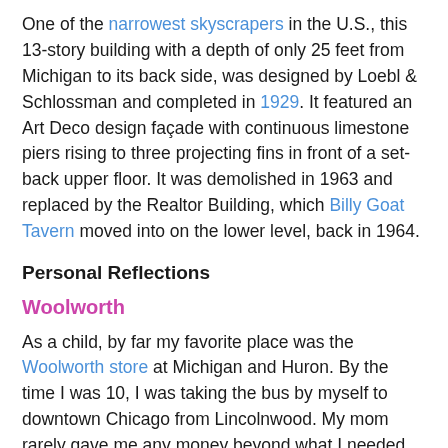One of the narrowest skyscrapers in the U.S., this 13-story building with a depth of only 25 feet from Michigan to its back side, was designed by Loebl & Schlossman and completed in 1929. It featured an Art Deco design façade with continuous limestone piers rising to three projecting fins in front of a set-back upper floor. It was demolished in 1963 and replaced by the Realtor Building, which Billy Goat Tavern moved into on the lower level, back in 1964.
Personal Reflections
Woolworth
As a child, by far my favorite place was the Woolworth store at Michigan and Huron. By the time I was 10, I was taking the bus by myself to downtown Chicago from Lincolnwood. My mom rarely gave me any money beyond what I needed for bus fare, but I managed to find spare change on the ground or sometimes brought my meager savings earned from returning Diet Rite bottles to the corner store. I loved the counters and displays filled with delightful trinkets, and I fondly remember the turquoise and yellow parakeets chirping away in the pet section. I loved buying big grab bags of